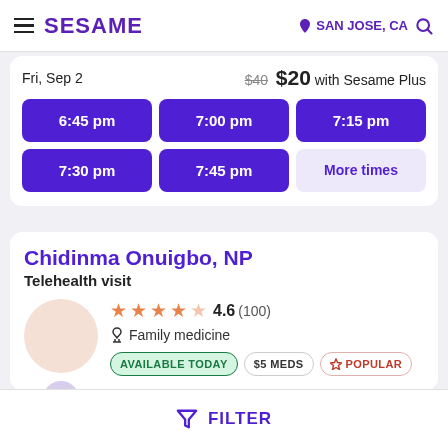SESAME | SAN JOSE, CA
Fri, Sep 2   $40  $20 with Sesame Plus
| 6:45 pm | 7:00 pm | 7:15 pm |
| 7:30 pm | 7:45 pm | More times |
Chidinma Onuigbo, NP
Telehealth visit
4.6 (100)
Family medicine
AVAILABLE TODAY  $5 MEDS  POPULAR
FILTER